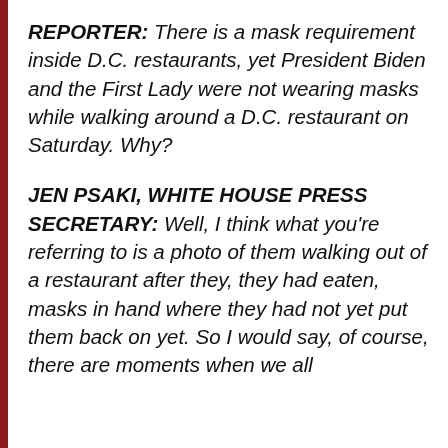REPORTER: There is a mask requirement inside D.C. restaurants, yet President Biden and the First Lady were not wearing masks while walking around a D.C. restaurant on Saturday. Why?
JEN PSAKI, WHITE HOUSE PRESS SECRETARY: Well, I think what you're referring to is a photo of them walking out of a restaurant after they, they had eaten, masks in hand where they had not yet put them back on yet. So I would say, of course, there are moments when we all